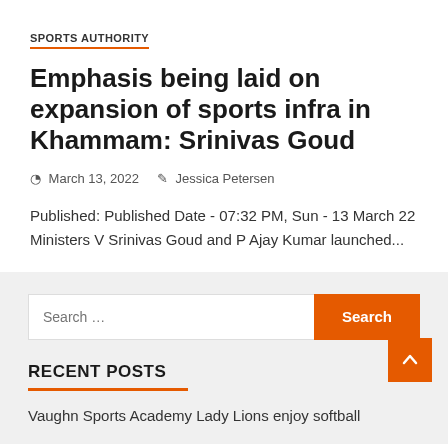SPORTS AUTHORITY
Emphasis being laid on expansion of sports infra in Khammam: Srinivas Goud
March 13, 2022   Jessica Petersen
Published: Published Date - 07:32 PM, Sun - 13 March 22 Ministers V Srinivas Goud and P Ajay Kumar launched...
RECENT POSTS
Vaughn Sports Academy Lady Lions enjoy softball